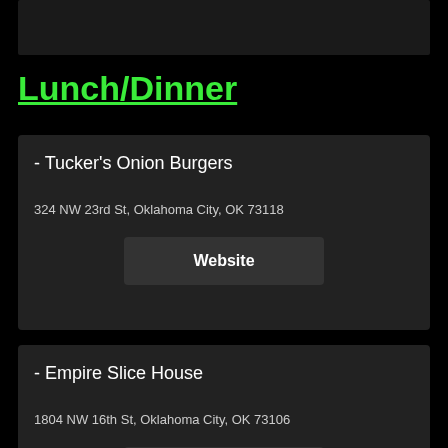[Figure (photo): Dark image bar at top of page]
Lunch/Dinner
- Tucker's Onion Burgers
324 NW 23rd St, Oklahoma City, OK 73118
Website
- Empire Slice House
1804 NW 16th St, Oklahoma City, OK 73106
Website